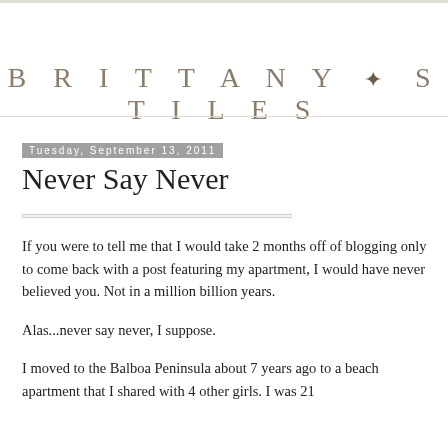BRITTANY + STILES
Tuesday, September 13, 2011
Never Say Never
If you were to tell me that I would take 2 months off of blogging only to come back with a post featuring my apartment, I would have never believed you. Not in a million billion years.
Alas...never say never, I suppose.
I moved to the Balboa Peninsula about 7 years ago to a beach apartment that I shared with 4 other girls. I was 21